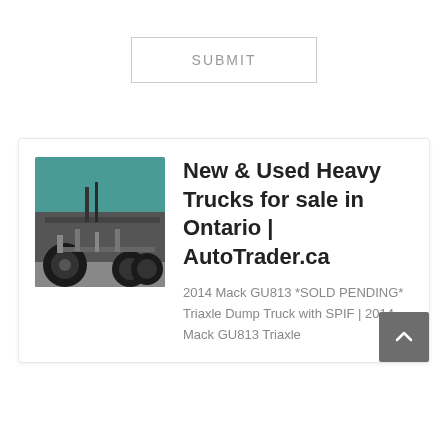SUBMIT
[Figure (photo): Photo of undercarriage and tires of a heavy truck, teal/green body visible]
New & Used Heavy Trucks for sale in Ontario | AutoTrader.ca
2014 Mack GU813 *SOLD PENDING* Triaxle Dump Truck with SPIF | 2014 Mack GU813 Triaxle